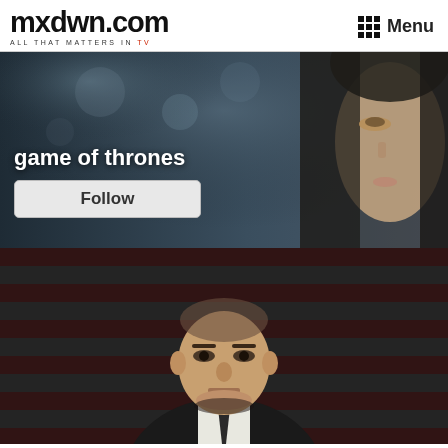mxdwn.com — ALL THAT MATTERS IN TV — Menu
[Figure (screenshot): Game of Thrones promotional image: blurred dark background with close-up of a blonde woman's face on the right side. Text overlay reads 'game of thrones' with a Follow button below.]
[Figure (screenshot): House of Cards promotional image: an older man in a dark suit stares intensely at the camera against a backdrop of horizontal red and grey stripes.]